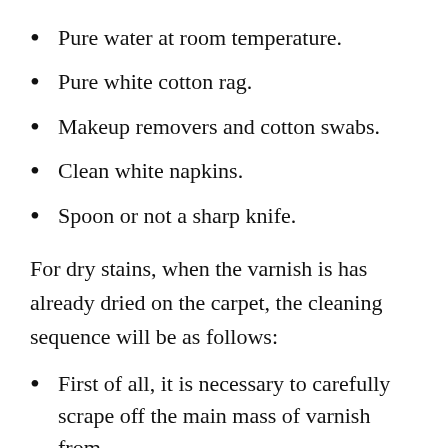Pure water at room temperature.
Pure white cotton rag.
Makeup removers and cotton swabs.
Clean white napkins.
Spoon or not a sharp knife.
For dry stains, when the varnish is has already dried on the carpet, the cleaning sequence will be as follows:
First of all, it is necessary to carefully scrape off the main mass of varnish from